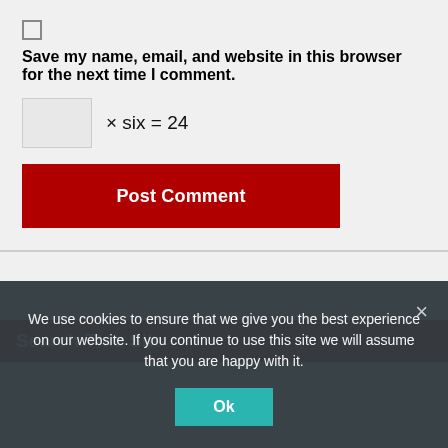Save my name, email, and website in this browser for the next time I comment.
× six = 24
Post Comment
Search This Site
We use cookies to ensure that we give you the best experience on our website. If you continue to use this site we will assume that you are happy with it.
Ok